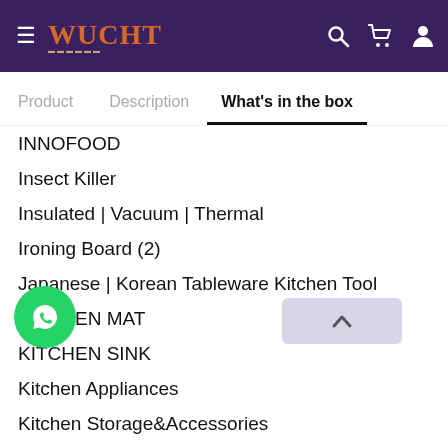WUCHT
What's in the box
INNOFOOD
Insect Killer
Insulated | Vacuum | Thermal
Ironing Board (2)
Japanese | Korean Tableware Kitchen Tool
KITCHEN MAT
KITCHEN SINK
Kitchen Appliances
Kitchen Storage&Accessories
Kitchen Utensils
Korean | Japanese Tableware
LIGHTER
Laundry & Cleaning Equipment